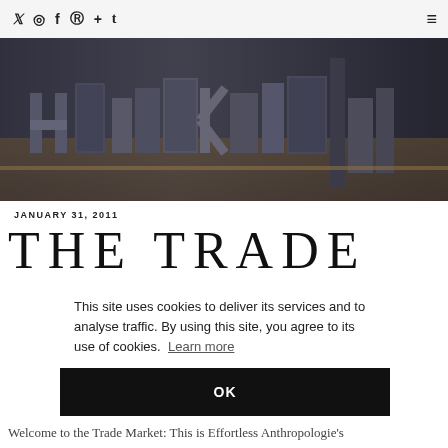Twitter Instagram Facebook Pinterest + Tumblr [hamburger menu]
[Figure (photo): Dark atmospheric photo of industrial metal letter blocks and typographic objects arranged on a shelf, predominantly in dark blue-grey tones]
JANUARY 31, 2011
THE TRADE
This site uses cookies to deliver its services and to analyse traffic. By using this site, you agree to its use of cookies.  Learn more
OK
Welcome to the Trade Market: This is Effortless Anthropologie's